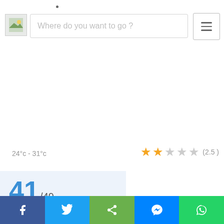Where do you want to go ?
24°c - 31°c
★★☆☆☆ (2.5)
41/49
Kukke Subramanya
[Figure (screenshot): Social share bar with Facebook, Twitter, Share, Messenger, and WhatsApp buttons]